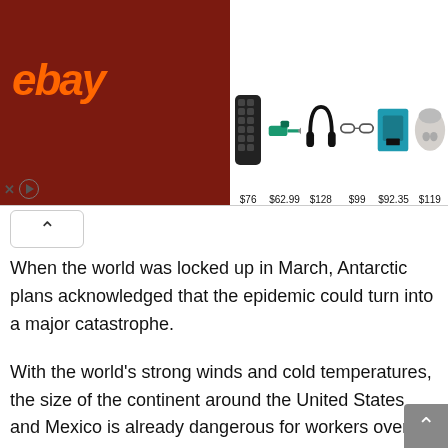[Figure (screenshot): eBay advertisement banner showing products: speaker ($76), tool ($62.99), headphones ($128), glasses ($99), drill kit ($92.35), earbuds ($119). Dark red eBay logo on left, product images with prices on right.]
When the world was locked up in March, Antarctic plans acknowledged that the epidemic could turn into a major catastrophe.
With the world’s strong winds and cold temperatures, the size of the continent around the United States and Mexico is already dangerous for workers over 40 years.
“A highly contagious novel virus with significant mortality and morbidity in the acute and severe environment of Antarctica is at high risk with catastrophic consequences with limited sophistication of medical care and public health responses,